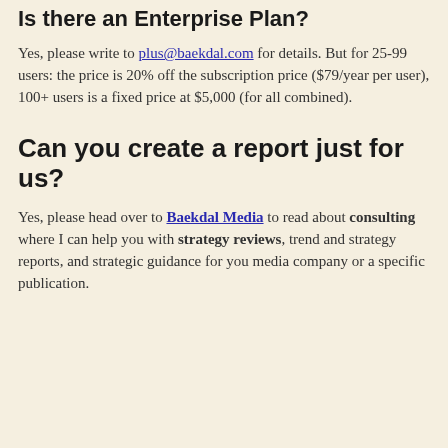Is there an Enterprise Plan?
Yes, please write to plus@baekdal.com for details. But for 25-99 users: the price is 20% off the subscription price ($79/year per user), 100+ users is a fixed price at $5,000 (for all combined).
Can you create a report just for us?
Yes, please head over to Baekdal Media to read about consulting where I can help you with strategy reviews, trend and strategy reports, and strategic guidance for you media company or a specific publication.